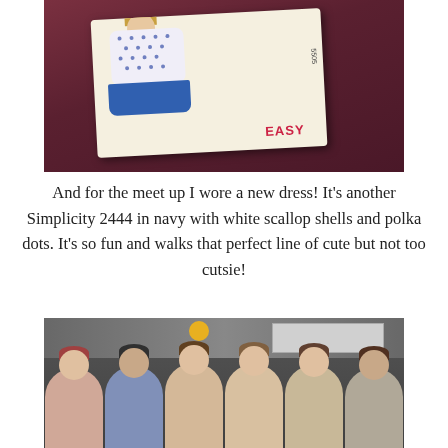[Figure (photo): Photo of a vintage sewing pattern envelope showing a woman in a polka dot blouse and blue skirt. The pattern envelope is worn and tattered. The word EASY is visible in red on the envelope. The background is dark red/maroon.]
And for the meet up I wore a new dress! It's another Simplicity 2444 in navy with white scallop shells and polka dots. It's so fun and walks that perfect line of cute but not too cutsie!
[Figure (photo): Photo of six young women smiling and posing together at what appears to be a London Underground tube station. A map/poster is visible on the wall behind them. There is a yellow light visible at the top of the image.]